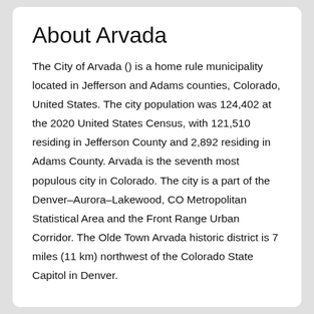About Arvada
The City of Arvada () is a home rule municipality located in Jefferson and Adams counties, Colorado, United States. The city population was 124,402 at the 2020 United States Census, with 121,510 residing in Jefferson County and 2,892 residing in Adams County. Arvada is the seventh most populous city in Colorado. The city is a part of the Denver–Aurora–Lakewood, CO Metropolitan Statistical Area and the Front Range Urban Corridor. The Olde Town Arvada historic district is 7 miles (11 km) northwest of the Colorado State Capitol in Denver.